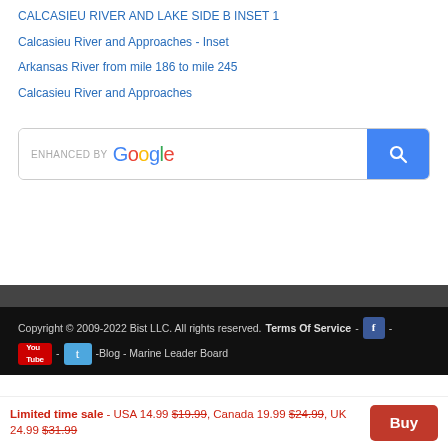CALCASIEU RIVER AND LAKE SIDE B INSET 1
Calcasieu River and Approaches - Inset
Arkansas River from mile 186 to mile 245
Calcasieu River and Approaches
[Figure (screenshot): Google enhanced search bar with blue search button]
Copyright © 2009-2022 Bist LLC. All rights reserved. Terms Of Service - [Facebook icon] - [YouTube icon] - [Twitter icon] -Blog - Marine Leader Board
Limited time sale - USA 14.99 $19.99, Canada 19.99 $24.99, UK 24.99 $31.99